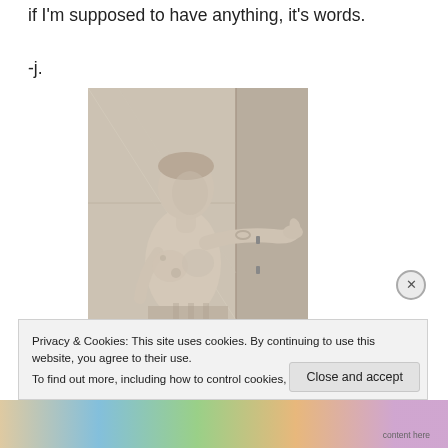if I'm supposed to have anything, it's words.
-j.
[Figure (photo): A classical marble statue of a woman, upper body visible, arm extended outward with hand raised, looking downward, against a stone/marble background.]
Privacy & Cookies: This site uses cookies. By continuing to use this website, you agree to their use.
To find out more, including how to control cookies, see here: Cookie Policy
Close and accept